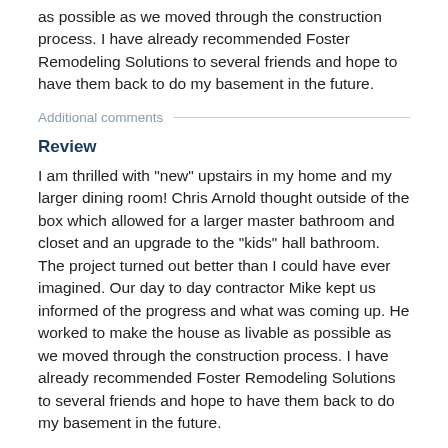as possible as we moved through the construction process. I have already recommended Foster Remodeling Solutions to several friends and hope to have them back to do my basement in the future.
Additional comments
Review
I am thrilled with "new" upstairs in my home and my larger dining room! Chris Arnold thought outside of the box which allowed for a larger master bathroom and closet and an upgrade to the "kids" hall bathroom. The project turned out better than I could have ever imagined. Our day to day contractor Mike kept us informed of the progress and what was coming up. He worked to make the house as livable as possible as we moved through the construction process. I have already recommended Foster Remodeling Solutions to several friends and hope to have them back to do my basement in the future.